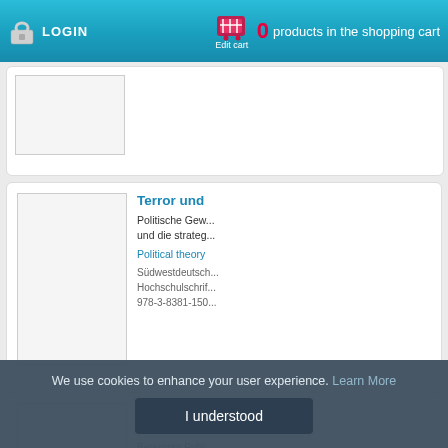LOGIN | 0 products in the shopping cart | Edit cart
[Figure (screenshot): Partially visible book product card at top]
Terror und
Politische Gew... und die strateg...
Political theory
Südwestdeutsch... Hochschulschrif... 978-3-8381-150...
Target: Ter...
Informatics
Betascript Publi... 978-613-6-1043...
We use cookies to enhance your user experience. Learn More
I understood